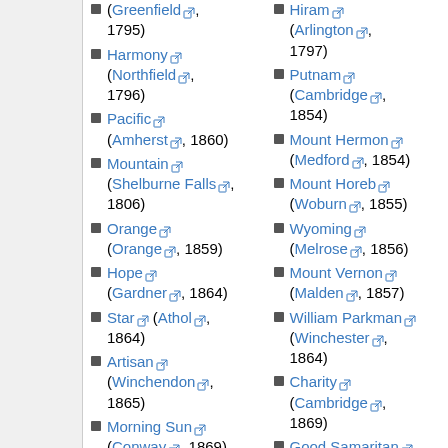(Greenfield, 1795)
Harmony (Northfield, 1796)
Pacific (Amherst, 1860)
Mountain (Shelburne Falls, 1806)
Orange (Orange, 1859)
Hope (Gardner, 1864)
Star (Athol, 1864)
Artisan (Winchendon, 1865)
Morning Sun (Conway, 1869)
Bay State (Montague, ...)
Hiram (Arlington, 1797)
Putnam (Cambridge, 1854)
Mount Hermon (Medford, 1854)
Mount Horeb (Woburn, 1855)
Wyoming (Melrose, 1856)
Mount Vernon (Malden, 1857)
William Parkman (Winchester, 1864)
Charity (Cambridge, 1869)
Good Samaritan (Reading, 1870)